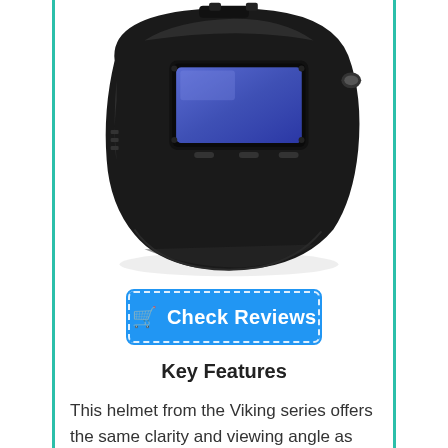[Figure (photo): A black welding helmet from the Viking series, shown at a slight angle. The helmet has a large rectangular auto-darkening lens with a blue/purple tint, and various knobs and controls on the top. The helmet is shiny black.]
Check Reviews
Key Features
This helmet from the Viking series offers the same clarity and viewing angle as the above one. However,